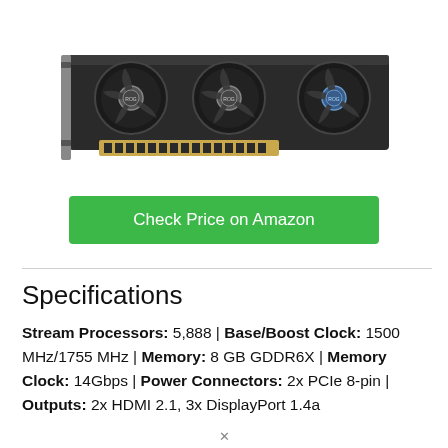[Figure (photo): ASUS ROG Strix graphics card with three fans featuring ROG logos, shown from a top-front angle against a white background. The card is dark/black with metallic fan shroud.]
Check Price on Amazon
Specifications
Stream Processors: 5,888 | Base/Boost Clock: 1500 MHz/1755 MHz | Memory: 8 GB GDDR6X | Memory Clock: 14Gbps | Power Connectors: 2x PCIe 8-pin | Outputs: 2x HDMI 2.1, 3x DisplayPort 1.4a